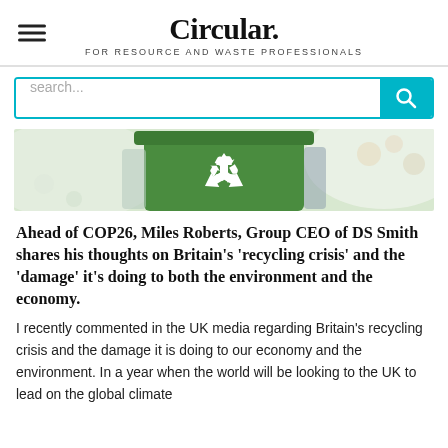Circular. FOR RESOURCE AND WASTE PROFESSIONALS
[Figure (photo): Green recycling bin with white recycling symbol logo, held by a person, blurred floral background]
Ahead of COP26, Miles Roberts, Group CEO of DS Smith shares his thoughts on Britain's 'recycling crisis' and the 'damage' it's doing to both the environment and the economy.
I recently commented in the UK media regarding Britain's recycling crisis and the damage it is doing to our economy and the environment. In a year when the world will be looking to the UK to lead on the global climate